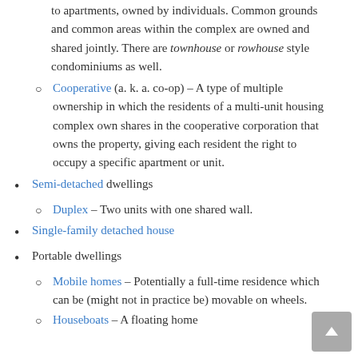to apartments, owned by individuals. Common grounds and common areas within the complex are owned and shared jointly. There are townhouse or rowhouse style condominiums as well.
Cooperative (a. k. a. co-op) – A type of multiple ownership in which the residents of a multi-unit housing complex own shares in the cooperative corporation that owns the property, giving each resident the right to occupy a specific apartment or unit.
Semi-detached dwellings
Duplex – Two units with one shared wall.
Single-family detached house
Portable dwellings
Mobile homes – Potentially a full-time residence which can be (might not in practice be) movable on wheels.
Houseboats – A floating home